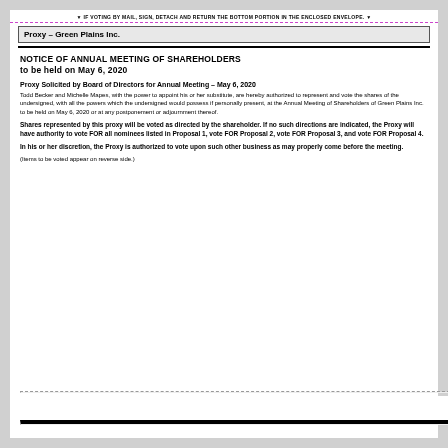▼ IF VOTING BY MAIL, SIGN, DETACH AND RETURN THE BOTTOM PORTION IN THE ENCLOSED ENVELOPE. ▼
Proxy – Green Plains Inc.
NOTICE OF ANNUAL MEETING OF SHAREHOLDERS
to be held on May 6, 2020
Proxy Solicited by Board of Directors for Annual Meeting – May 6, 2020
Todd Becker and Michelle Mapes, with the power to appoint his or her substitute, are hereby authorized to represent and vote the shares of the undersigned, with all the powers which the undersigned would possess if personally present, at the Annual Meeting of Shareholders of Green Plains Inc. to be held on May 6, 2020 or at any postponement or adjournment thereof.
Shares represented by this proxy will be voted as directed by the shareholder. If no such directions are indicated, the Proxy will have authority to vote FOR all nominees listed in Proposal 1, vote FOR Proposal 2, vote FOR Proposal 3, and vote FOR Proposal 4.
In his or her discretion, the Proxy is authorized to vote upon such other business as may properly come before the meeting.
(Items to be voted appear on reverse side.)